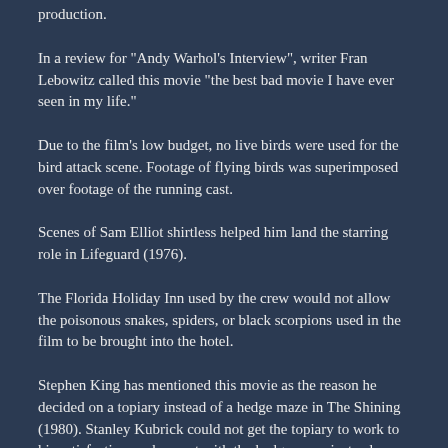production.
In a review for "Andy Warhol's Interview", writer Fran Lebowitz called this movie "the best bad movie I have ever seen in my life."
Due to the film's low budget, no live birds were used for the bird attack scene. Footage of flying birds was superimposed over footage of the running cast.
Scenes of Sam Elliot shirtless helped him land the starring role in Lifeguard (1976).
The Florida Holiday Inn used by the crew would not allow the poisonous snakes, spiders, or black scorpions used in the film to be brought into the hotel.
Stephen King has mentioned this movie as the reason he decided on a topiary instead of a hedge maze in The Shining (1980). Stanley Kubrick could not get the topiary to work to his satisfaction, so he went with the hedge maze instead.
This was the first of many "eco-horror" films of the 1970s, inspired by the surprise box-office success of Willard